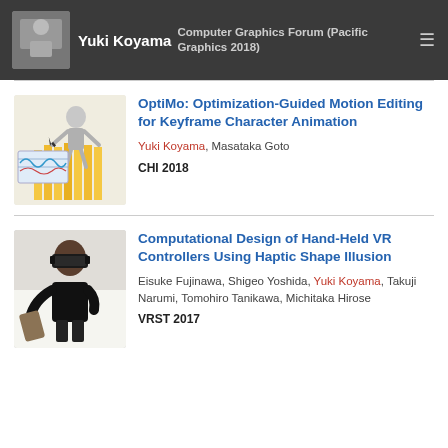Yuki Koyama — Computer Graphics Forum (Pacific Graphics 2018)
[Figure (illustration): Thumbnail of character animation figure with motion editing interface]
OptiMo: Optimization-Guided Motion Editing for Keyframe Character Animation
Yuki Koyama, Masataka Goto
CHI 2018
[Figure (photo): Person wearing VR headset holding a controller]
Computational Design of Hand-Held VR Controllers Using Haptic Shape Illusion
Eisuke Fujinawa, Shigeo Yoshida, Yuki Koyama, Takuji Narumi, Tomohiro Tanikawa, Michitaka Hirose
VRST 2017